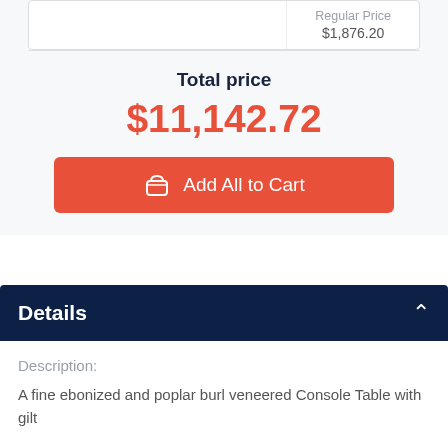Regular Price $1,876.20
Total price
$11,142.72
Add All to Cart
Details
Description:
A fine ebonized and poplar burl veneered Console Table with gilt